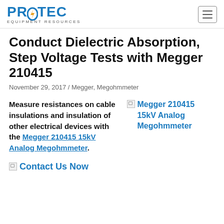PROTEC EQUIPMENT RESOURCES
Conduct Dielectric Absorption, Step Voltage Tests with Megger 210415
November 29, 2017 / Megger, Megohmmeter
Measure resistances on cable insulations and insulation of other electrical devices with the Megger 210415 15kV Analog Megohmmeter.
[Figure (photo): Megger 210415 15kV Analog Megohmmeter product image (broken/missing image placeholder)]
[Figure (photo): Contact Us Now image (broken/missing image placeholder)]